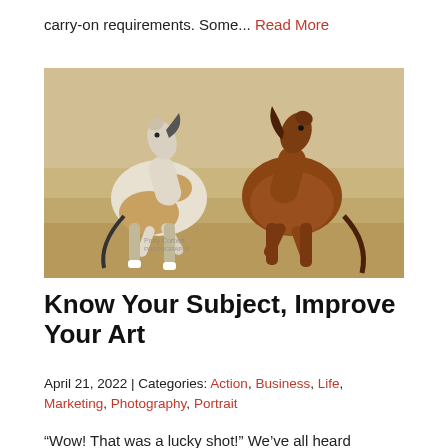carry-on requirements. Some... Read More
[Figure (photo): Two horses rearing up on hind legs facing each other in an open field — one white/pinto and one brown/chestnut — with a sandy, dry grassland background.]
Know Your Subject, Improve Your Art
April 21, 2022 | Categories: Action, Business, Life, Marketing, Photography, Portrait
“Wow! That was a lucky shot!” We’ve all heard